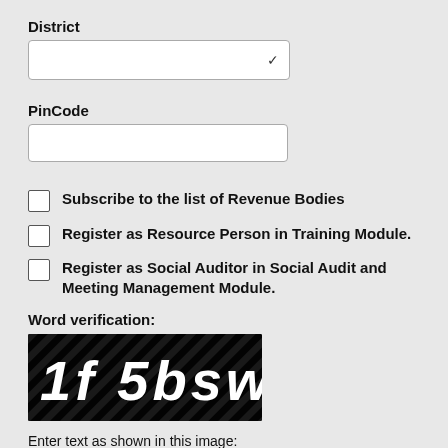District
[Figure (screenshot): Dropdown select box for District field]
PinCode
[Figure (screenshot): Text input box for PinCode field]
Subscribe to the list of Revenue Bodies
Register as Resource Person in Training Module.
Register as Social Auditor in Social Audit and Meeting Management Module.
Word verification:
[Figure (screenshot): CAPTCHA image showing text '1f 5bsw' in white bold italic font on black diagonal striped background]
Enter text as shown in this image:
[Figure (screenshot): Text input box for entering CAPTCHA verification text]